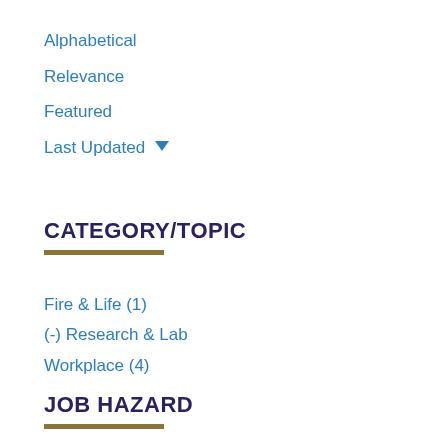Alphabetical
Relevance
Featured
Last Updated ▾
CATEGORY/TOPIC
Fire & Life (1)
(-) Research & Lab
Workplace (4)
JOB HAZARD